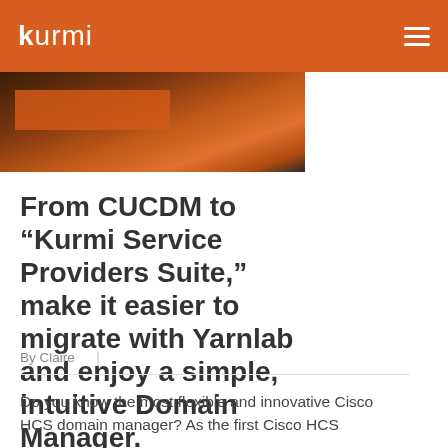kurmi
[Figure (photo): Partial view of a laptop or device on a dark surface with an orange/brown color gradient overlay]
From CUCDM to “Kurmi Service Providers Suite,” make it easier to migrate with Yarnlab and enjoy a simple, intuitive Domain Manager.
By Claire   |
Do you know the most flexible and innovative Cisco HCS domain manager? As the first Cisco HCS